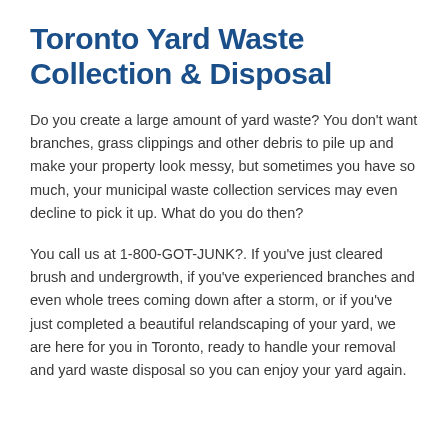Toronto Yard Waste Collection & Disposal
Do you create a large amount of yard waste? You don't want branches, grass clippings and other debris to pile up and make your property look messy, but sometimes you have so much, your municipal waste collection services may even decline to pick it up. What do you do then?
You call us at 1-800-GOT-JUNK?. If you've just cleared brush and undergrowth, if you've experienced branches and even whole trees coming down after a storm, or if you've just completed a beautiful relandscaping of your yard, we are here for you in Toronto, ready to handle your removal and yard waste disposal so you can enjoy your yard again.